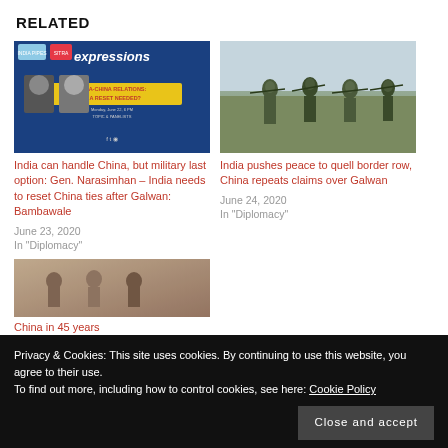RELATED
[Figure (photo): Blue promotional banner for 'expressions' event with text 'INDIA-CHINA RELATIONS: IS A RESET NEEDED?' with two speakers' photos]
[Figure (photo): Soldiers in camouflage uniforms walking through a field]
India can handle China, but military last option: Gen. Narasimhan – India needs to reset China ties after Galwan: Bambawale
June 23, 2020
In "Diplomacy"
India pushes peace to quell border row, China repeats claims over Galwan
June 24, 2020
In "Diplomacy"
[Figure (photo): Sepia/black-and-white historical photo of people]
China in 45 years
Privacy & Cookies: This site uses cookies. By continuing to use this website, you agree to their use.
To find out more, including how to control cookies, see here: Cookie Policy
Close and accept